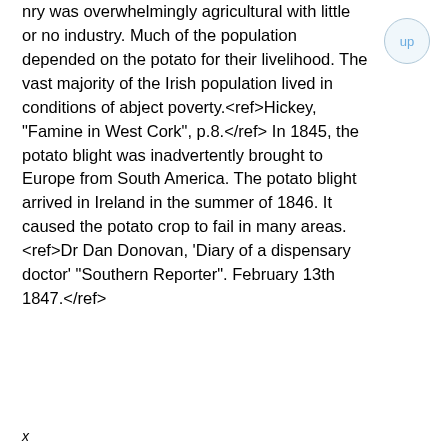nry was overwhelmingly agricultural with little or no industry. Much of the population depended on the potato for their livelihood. The vast majority of the Irish population lived in conditions of abject poverty.<ref>Hickey, "Famine in West Cork", p.8.</ref> In 1845, the potato blight was inadvertently brought to Europe from South America. The potato blight arrived in Ireland in the summer of 1846. It caused the potato crop to fail in many areas.<ref>Dr Dan Donovan, 'Diary of a dispensary doctor' "Southern Reporter". February 13th 1847.</ref>
x